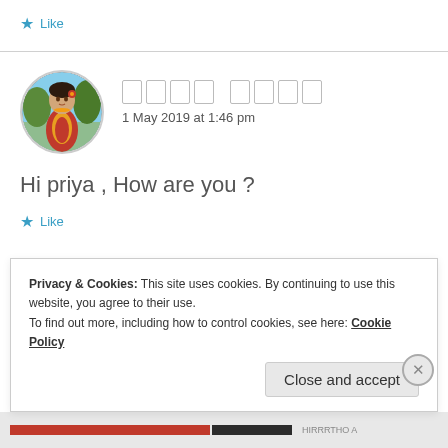Like
[Figure (photo): Circular avatar photo of a woman in traditional Indian attire (red/maroon dress with jewelry)]
□□□□ □□□□
1 May 2019 at 1:46 pm
Hi priya , How are you ?
Like
Privacy & Cookies: This site uses cookies. By continuing to use this website, you agree to their use.
To find out more, including how to control cookies, see here: Cookie Policy
Close and accept